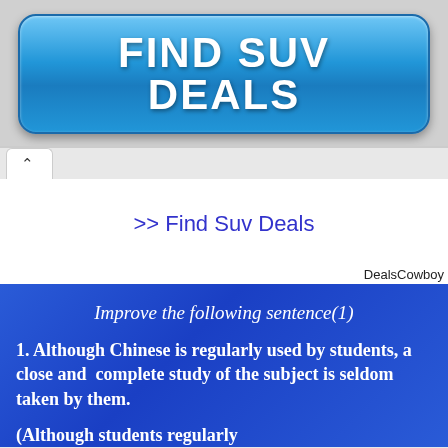[Figure (illustration): Blue rounded rectangle button with text FIND SUV DEALS in bold white letters on a gradient blue background]
>> Find Suv Deals
DealsCowboy
Improve the following sentence(1)
1. Although Chinese is regularly used by students, a close and complete study of the subject is seldom taken by them.
(Although students regularly